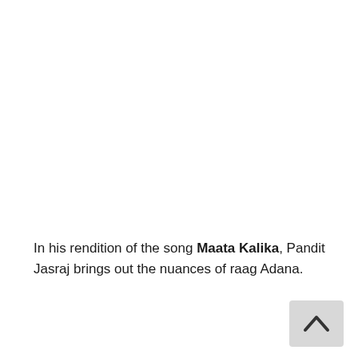In his rendition of the song Maata Kalika, Pandit Jasraj brings out the nuances of raag Adana.